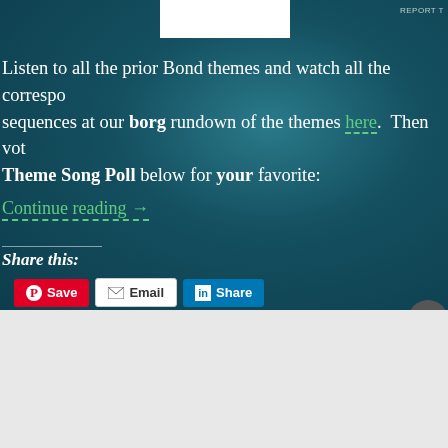Listen to all the prior Bond themes and watch all the corresponding sequences at our borg rundown of the themes here. Then vote in the Theme Song Poll below for your favorite:
Continue reading →
Share this:
[Figure (screenshot): Social sharing buttons: Save (Pinterest, red), Email (white), Share (LinkedIn, blue), More (white)]
Like this:
[Figure (screenshot): DuckDuckGo advertisement banner: Search, browse, and email with more privacy. All in One Free App. Shows phone with DuckDuckGo logo.]